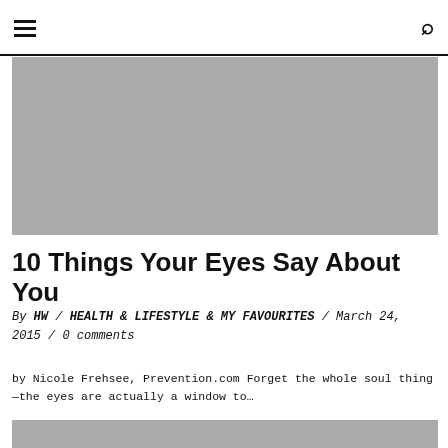≡  🔍
[Figure (photo): Gray placeholder hero image at top of article]
10 Things Your Eyes Say About You
By HW / HEALTH & LIFESTYLE & MY FAVOURITES / March 24, 2015 / 0 comments
by Nicole Frehsee, Prevention.com Forget the whole soul thing—the eyes are actually a window to…
[Figure (photo): Gray placeholder image at bottom of page]